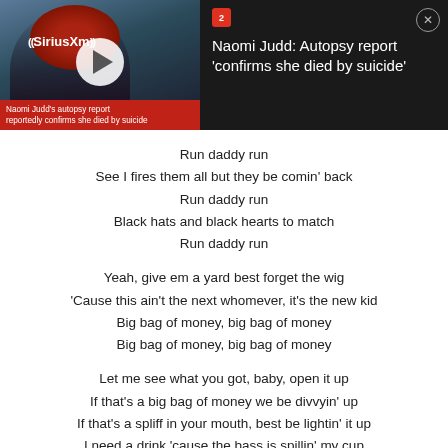[Figure (screenshot): News banner showing Naomi Judd autopsy report story with SiriusXM logo, play button, woman with red hair photo, and red caption bar.]
Run daddy run
See I fires them all but they be comin' back
Run daddy run
Black hats and black hearts to match
Run daddy run
Yeah, give em a yard best forget the wig
'Cause this ain't the next whomever, it's the new kid
Big bag of money, big bag of money
Big bag of money, big bag of money
Let me see what you got, baby, open it up
If that's a big bag of money we be divvyin' up
If that's a spliff in your mouth, best be lightin' it up
I need a drink 'cause the bass is spillin' my cup